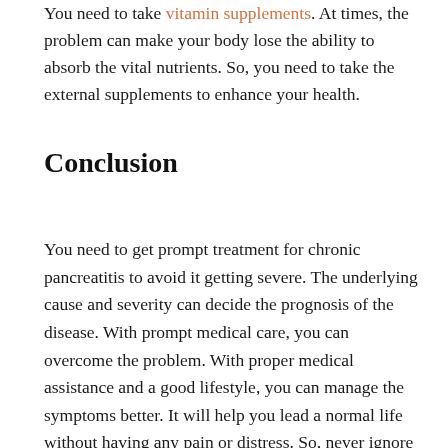You need to take vitamin supplements. At times, the problem can make your body lose the ability to absorb the vital nutrients. So, you need to take the external supplements to enhance your health.
Conclusion
You need to get prompt treatment for chronic pancreatitis to avoid it getting severe. The underlying cause and severity can decide the prognosis of the disease. With prompt medical care, you can overcome the problem. With proper medical assistance and a good lifestyle, you can manage the symptoms better. It will help you lead a normal life without having any pain or distress. So, never ignore the problem or its seriousness. Take adequate steps to control the problem from flaring up. When you notice the signs and symptoms associated with the